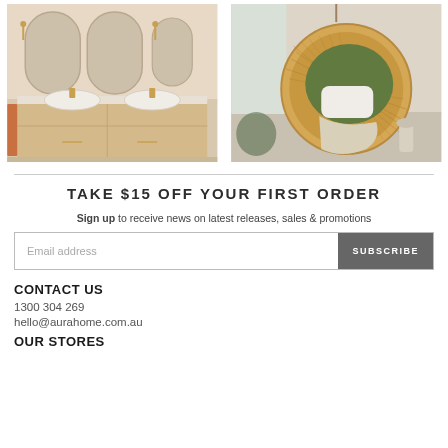[Figure (photo): Bathroom vanity with two white basin sinks on a light wood floating cabinet, arched mirrors, gold fixtures, orange towel on left side]
[Figure (photo): Round hanging rattan chair with olive green cushion, white pillow, and cream throw blanket]
TAKE $15 OFF YOUR FIRST ORDER
Sign up to receive news on latest releases, sales & promotions
Email address
SUBSCRIBE
CONTACT US
1300 304 269
hello@aurahome.com.au
OUR STORES